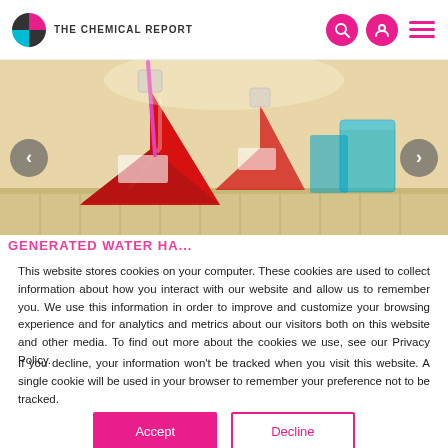THE CHEMICAL REPORT
[Figure (photo): Laboratory Erlenmeyer flasks filled with red and blue liquids on a lab bench]
This website stores cookies on your computer. These cookies are used to collect information about how you interact with our website and allow us to remember you. We use this information in order to improve and customize your browsing experience and for analytics and metrics about our visitors both on this website and other media. To find out more about the cookies we use, see our Privacy Policy.
If you decline, your information won't be tracked when you visit this website. A single cookie will be used in your browser to remember your preference not to be tracked.
Accept   Decline